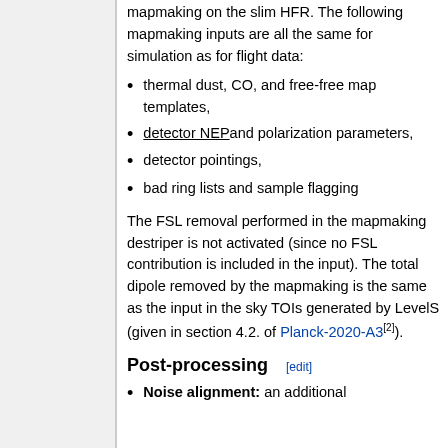mapmaking on the slim HFR. The following mapmaking inputs are all the same for simulation as for flight data:
thermal dust, CO, and free-free map templates,
detector NEP and polarization parameters,
detector pointings,
bad ring lists and sample flagging
The FSL removal performed in the mapmaking destriper is not activated (since no FSL contribution is included in the input). The total dipole removed by the mapmaking is the same as the input in the sky TOIs generated by LevelS (given in section 4.2. of Planck-2020-A3[2]).
Post-processing [edit]
Noise alignment: an additional